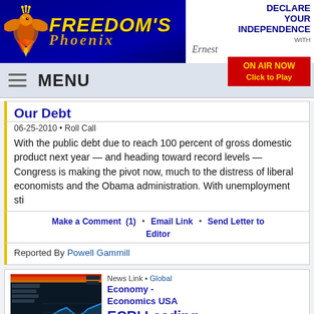[Figure (logo): Freedom's Phoenix website logo with golden phoenix bird on blue background, and 'Declare Your Independence' banner with ON AIR NOW red button on the right]
MENU
Our Debt
06-25-2010 • Roll Call
With the public debt due to reach 100 percent of gross domestic product next year — and heading toward record levels — Congress is making the pivot now, much to the distress of liberal economists and the Obama administration. With unemployment sti
Make a Comment (1) • Email Link • Send Letter to Editor
Reported By Powell Gammill
News Link • Global
Economy - Economics USA
ECRI Leading Economic